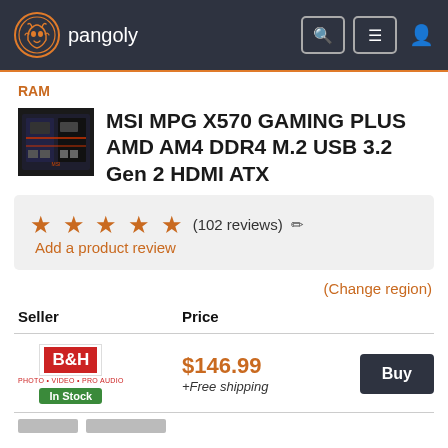pangoly
RAM
MSI MPG X570 GAMING PLUS AMD AM4 DDR4 M.2 USB 3.2 Gen 2 HDMI ATX
★★★★★ (102 reviews) ✏ Add a product review
(Change region)
| Seller | Price |  |
| --- | --- | --- |
| B&H In Stock | $146.99 +Free shipping | Buy |